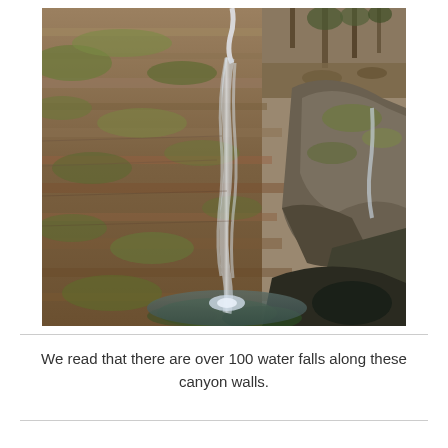[Figure (photo): A waterfall cascading down layered sandstone rock walls covered with moss and lichen. The water falls from the top of the frame into a pool at the bottom. The rock face shows horizontal stratification layers in brown and tan tones with patches of green moss. Trees are visible at the top right corner.]
We read that there are over 100 water falls along these canyon walls.